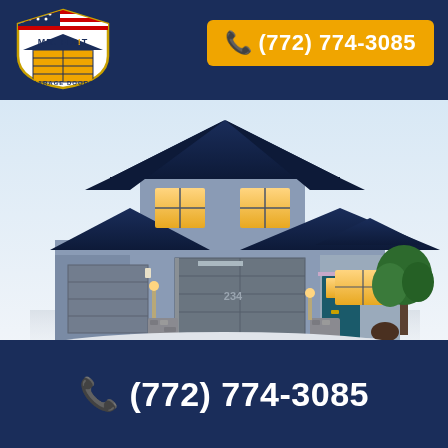Mr. Fix It Garage Doors
(772) 774-3085
[Figure (photo): Two-story residential house with three garage doors, blue-gray siding, dark navy roof, illuminated windows, and a green tree on the right side.]
☎ (772) 774-3085